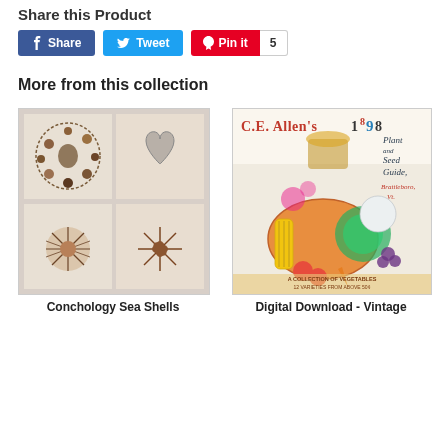Share this Product
Share | Tweet | Pin it 5
More from this collection
[Figure (photo): Conchology sea shells botanical illustration showing various shells arranged in a grid pattern on a light wooden background]
[Figure (photo): C.E. Allen's 1898 Plant and Seed Guide, Brattleboro, Vt. vintage catalog cover with colorful vegetables and fruits illustration]
Conchology Sea Shells
Digital Download - Vintage